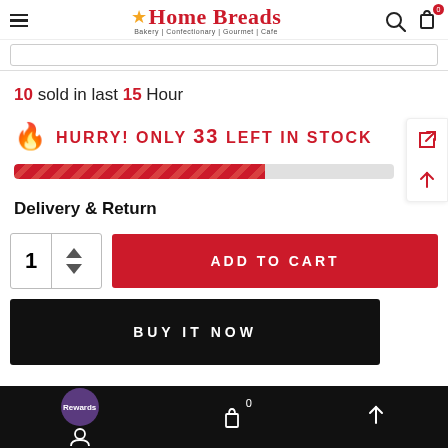Home Breads — Bakery | Confectionary | Gourmet | Cafe
10 sold in last 15 Hour
HURRY! ONLY 33 LEFT IN STOCK
Delivery & Return
1 ADD TO CART
BUY IT NOW
Rewards  0  ↑